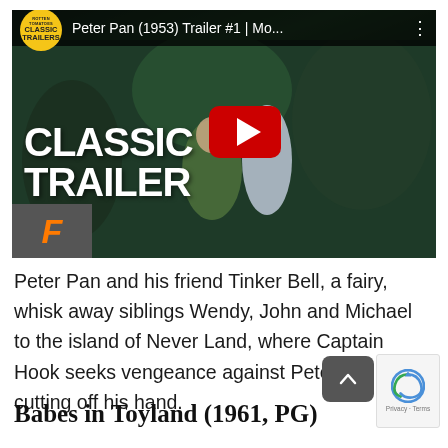[Figure (screenshot): YouTube video thumbnail for 'Peter Pan (1953) Trailer #1 | Mo...' showing animated characters Peter Pan and Wendy flying, with a red YouTube play button in the center, 'CLASSIC TRAILER' text overlay in bold white, and a Fandango badge in the lower left corner. A Classic Trailers badge is shown in the top left.]
Peter Pan and his friend Tinker Bell, a fairy, whisk away siblings Wendy, John and Michael to the island of Never Land, where Captain Hook seeks vengeance against Peter for cutting off his hand.
Babes in Toyland (1961, PG)